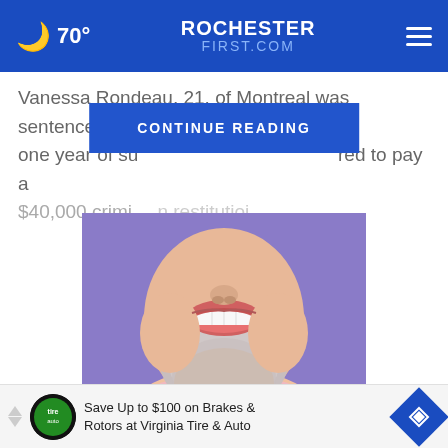🌙 70° | ROCHESTER FIRST.COM
Vanessa Rondeau, 21, of Montreal was sentenced to one year of su[pervision and was requi]red to pay a $40,000 crimi[nal restitution]
CONTINUE READING
[Figure (photo): Close-up photo of a middle-aged man with a gray beard smiling, showing white teeth, wearing a pink shirt, against a purple background.]
Dental Implants May Be Paid by Medicare (See How)
Save Up to $100 on Brakes & Rotors at Virginia Tire & Auto